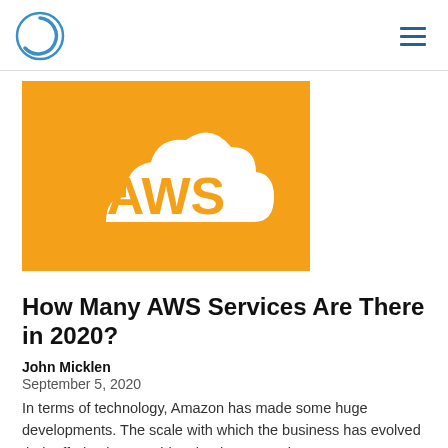[Figure (logo): Circular logo with a blue circle outline and a blue incomplete circle arc inside, resembling a loading spinner or stylized C]
[Figure (logo): AWS logo on orange background: white cloud shape with orange AWS text inside]
How Many AWS Services Are There in 2020?
John Micklen
September 5, 2020
In terms of technology, Amazon has made some huge developments. The scale with which the business has evolved their offering is something that has never been seen before.